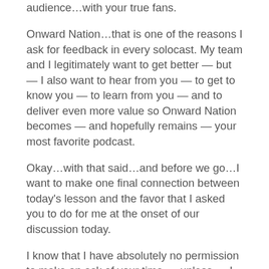audience…with your true fans.
Onward Nation…that is one of the reasons I ask for feedback in every solocast. My team and I legitimately want to get better — but — I also want to hear from you — to get to know you — to learn from you — and to deliver even more value so Onward Nation becomes — and hopefully remains — your most favorite podcast.
Okay…with that said…and before we go…I want to make one final connection between today's lesson and the favor that I asked you to do for me at the onset of our discussion today.
I know that I have absolutely no permission to make an ask of your time — unless — I have consistently delivered value.
And — even if I have consistently delivered value — I must be considerate in the favors I ask for — no one wants to spend time with the takers — the people who